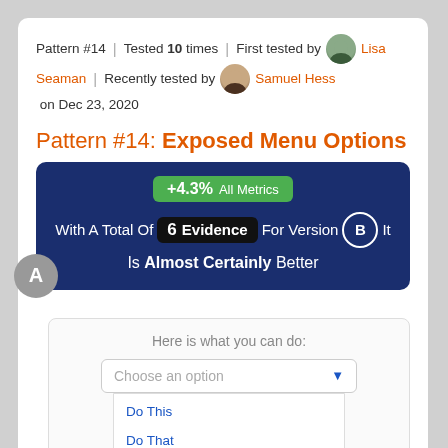Pattern #14 | Tested 10 times | First tested by Lisa Seaman | Recently tested by Samuel Hess on Dec 23, 2020
Pattern #14: Exposed Menu Options
[Figure (infographic): Dark blue info box showing +4.3% All Metrics, With A Total Of 6 Evidence For Version B It Is Almost Certainly Better]
[Figure (screenshot): Version A preview: dropdown select box labeled 'Here is what you can do:' showing 'Choose an option' with expanded list: Do This, Do That, Or Do Something Else]